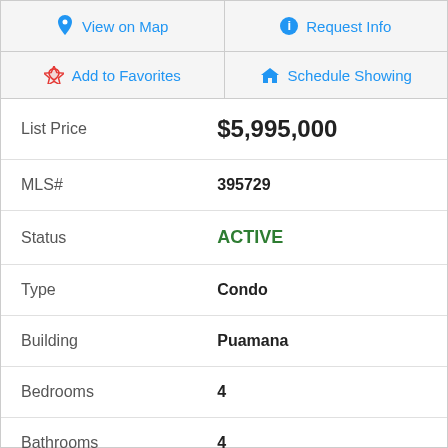| Action | Action |
| --- | --- |
| View on Map | Request Info |
| Add to Favorites | Schedule Showing |
| Field | Value |
| --- | --- |
| List Price | $5,995,000 |
| MLS# | 395729 |
| Status | ACTIVE |
| Type | Condo |
| Building | Puamana |
| Bedrooms | 4 |
| Bathrooms | 4 |
| Living Area | 2,356 |